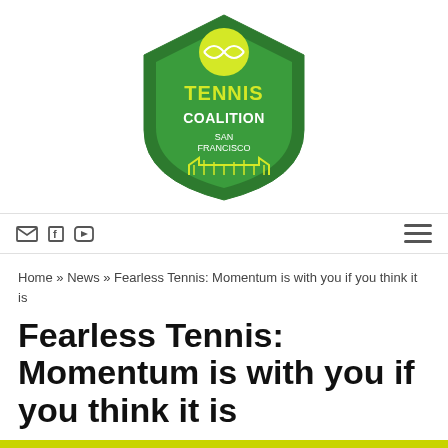[Figure (logo): Tennis Coalition San Francisco shield logo with yellow tennis ball on green background]
email, facebook, youtube icons | hamburger menu
Home » News » Fearless Tennis: Momentum is with you if you think it is
Fearless Tennis: Momentum is with you if you think it is
15 Jul, 2017  in News